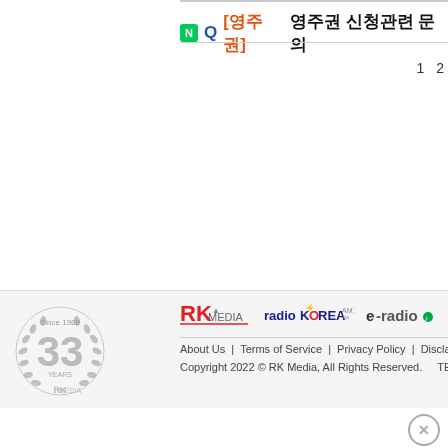Q [영주권] 영주권 신청관련 문의
1  2
[Figure (logo): RK Media 33 years since 1989 anniversary logo]
[Figure (logo): RK Media logo]
[Figure (logo): radioKOREA logo]
[Figure (logo): e-radio logo]
About Us | Terms of Service | Privacy Policy | Disclaimer | Copyright 2022 © RK Media, All Rights Reserved.  TEL (21